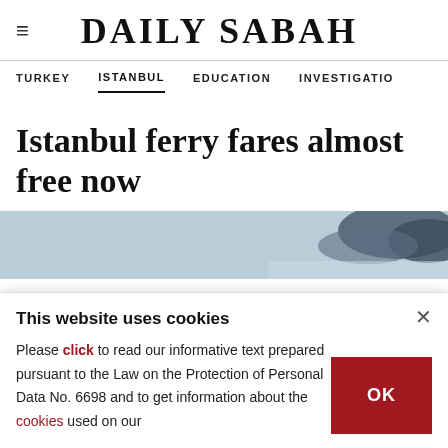DAILY SABAH
TURKEY  ISTANBUL  EDUCATION  INVESTIGATIO
Istanbul ferry fares almost free now
[Figure (photo): Partial view of ferry/sea scene with sky and clouds, cropped header image]
This website uses cookies
Please click to read our informative text prepared pursuant to the Law on the Protection of Personal Data No. 6698 and to get information about the cookies used on our